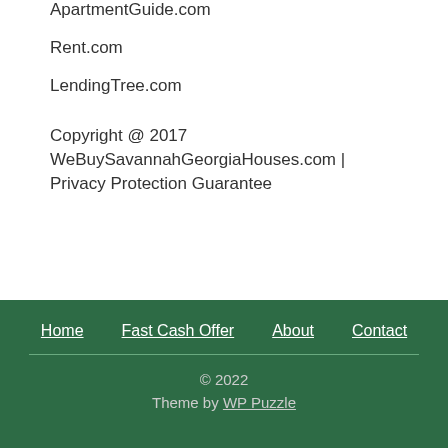ApartmentGuide.com
Rent.com
LendingTree.com
Copyright @ 2017 WeBuySavannahGeorgiaHouses.com | Privacy Protection Guarantee
Home | Fast Cash Offer | About | Contact
© 2022
Theme by WP Puzzle